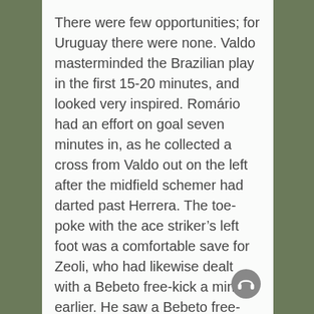There were few opportunities; for Uruguay there were none. Valdo masterminded the Brazilian play in the first 15-20 minutes, and looked very inspired. Romário had an effort on goal seven minutes in, as he collected a cross from Valdo out on the left after the midfield schemer had darted past Herrera. The toe-poke with the ace striker's left foot was a comfortable save for Zeoli, who had likewise dealt with a Bebeto free-kick a minute earlier. He saw a Bebeto free-kick, again, just wide on 27 mins, while Valdo had had an effort a yard wide to the right from the left outside the area two minutes earlier. Furthermore, Zeoli comfortably held a daisy-cutter from Mazinho on 32 mins, and then dived to his right to hold on to Branco's 35